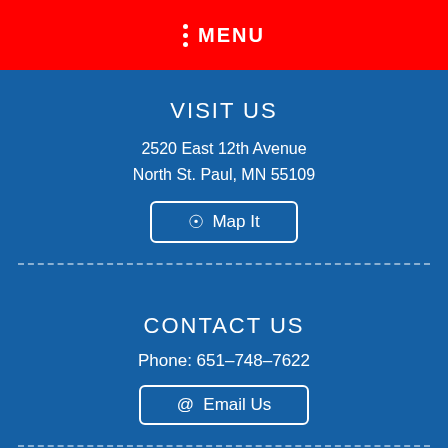MENU
VISIT US
2520 East 12th Avenue
North St. Paul, MN 55109
Map It
CONTACT US
Phone: 651-748-7622
Email Us
HELPFUL LINKS